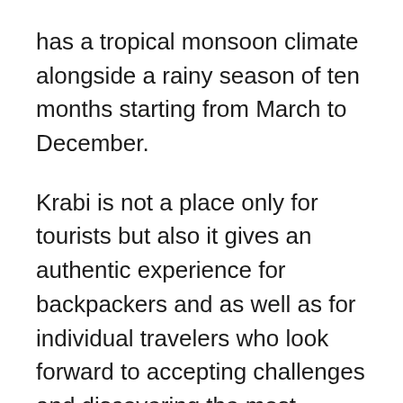has a tropical monsoon climate alongside a rainy season of ten months starting from March to December.
Krabi is not a place only for tourists but also it gives an authentic experience for backpackers and as well as for individual travelers who look forward to accepting challenges and discovering the most anticipating things in Thailand. Also, the native Thai people serve the tourists with their utmost hospitality and pleasure. So, this will be a remarkable memory for those who are interested in genuine Thai culture.
There are many tourists attractions and